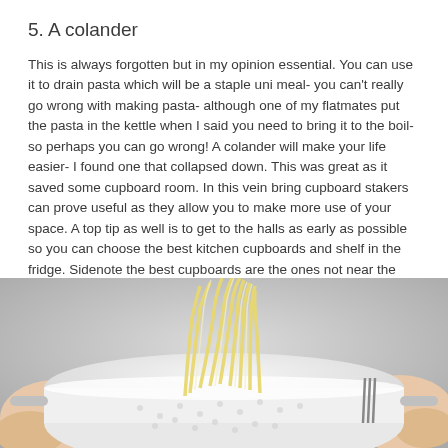5. A colander
This is always forgotten but in my opinion essential. You can use it to drain pasta which will be a staple uni meal- you can't really go wrong with making pasta- although one of my flatmates put the pasta in the kettle when I said you need to bring it to the boil- so perhaps you can go wrong! A colander will make your life easier- I found one that collapsed down. This was great as it saved some cupboard room. In this vein bring cupboard stakers can prove useful as they allow you to make more use of your space. A top tip as well is to get to the halls as early as possible so you can choose the best kitchen cupboards and shelf in the fridge. Sidenote the best cupboards are the ones not near the sink or cooker and the best fridge shelf is the one at the top!
[Figure (photo): A photo of a colander/strainer holding cooked pasta noodles being lifted, with a blurred background.]